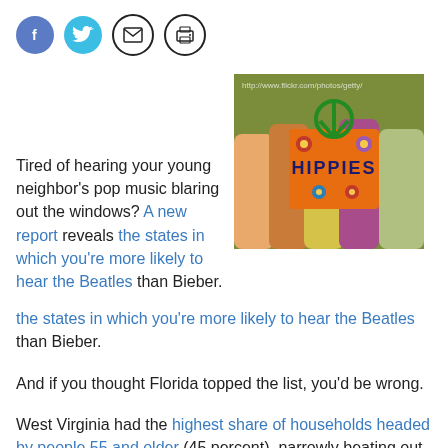[Figure (other): Social media sharing icons: Facebook (blue circle with f), Twitter (blue circle with bird), Email (black circle outline with envelope), Print (black circle outline with printer)]
[Figure (photo): Group of people dressed as hippies, colorful costumes, one holding an orange sign that reads HIPPIES with a green peace sign on top. Watermark visible at top.]
Tired of hearing your young neighbor's pop music blaring out the windows? A new report reveals the states in which you're more likely to hear the Beatles than Bieber.
And if you thought Florida topped the list, you'd be wrong.
West Virginia had the highest share of households headed by people 55 and older (45 percent), narrowly beating out Florida (44 percent), Hawaii and Maine (43 percent each).